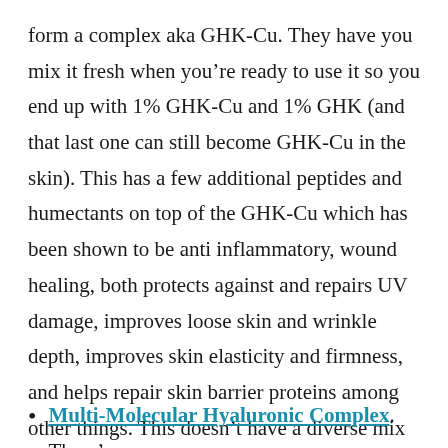form a complex aka GHK-Cu. They have you mix it fresh when you're ready to use it so you end up with 1% GHK-Cu and 1% GHK (and that last one can still become GHK-Cu in the skin). This has a few additional peptides and humectants on top of the GHK-Cu which has been shown to be anti inflammatory, wound healing, both protects against and repairs UV damage, improves loose skin and wrinkle depth, improves skin elasticity and firmness, and helps repair skin barrier proteins among other things. This doesn't have a diverse mix of ingredients and is better for mature skin types that already has their other basics down in my opinion.
Multi-Molecular Hyaluronic Complex. There's a